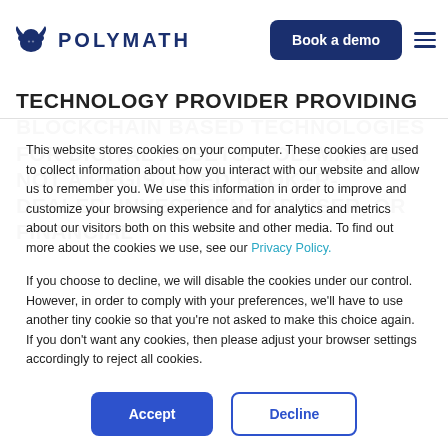Polymath — Book a demo
TECHNOLOGY PROVIDER PROVIDING BLOCKCHAIN BASED TECHNOLOGIES FOR DIGITAL ASSETS. POLYMATH IS NOT A REGISTERED BROKER-DEALER, INVESTMENT ADVISER, OR FINANCIAL
This website stores cookies on your computer. These cookies are used to collect information about how you interact with our website and allow us to remember you. We use this information in order to improve and customize your browsing experience and for analytics and metrics about our visitors both on this website and other media. To find out more about the cookies we use, see our Privacy Policy.
If you choose to decline, we will disable the cookies under our control. However, in order to comply with your preferences, we'll have to use another tiny cookie so that you're not asked to make this choice again. If you don't want any cookies, then please adjust your browser settings accordingly to reject all cookies.
Accept
Decline